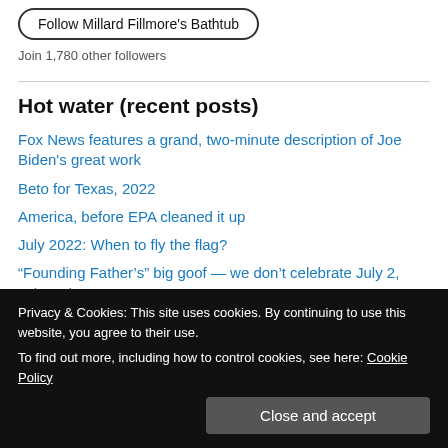Follow Millard Fillmore's Bathtub
Join 1,780 other followers
Hot water (recent posts)
Fox News features a grand, two-minute description of Joe Biden's great work
Beto for Texas, 2022
America, before EPA cleaned it up
July 2022: When to fly the flag?
“Founding Father’s” big goof — we don’t celebrate July 2, John Adams
June 2022: On what dates should we fly the flag?
Condemned to repeat
Privacy & Cookies: This site uses cookies. By continuing to use this website, you agree to their use.
To find out more, including how to control cookies, see here: Cookie Policy
Close and accept
“Green Book” story told at Ft. Worth Museum Science and History